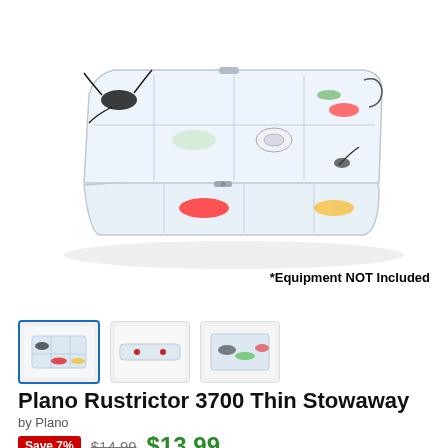[Figure (photo): Clear plastic Plano Rustrictor 3700 Thin Stowaway tackle box open with fishing lures, hooks, and flies stored inside compartments, shown at a 3/4 angle on a white background.]
*Equipment NOT Included
[Figure (photo): Row of three product thumbnail images: first (selected with blue border) shows the tackle box open from above with lures; second shows the closed box from the side; third shows a close-up of lures inside.]
Plano Rustrictor 3700 Thin Stowaway
by Plano
Save 7%  $14.99  $13.99